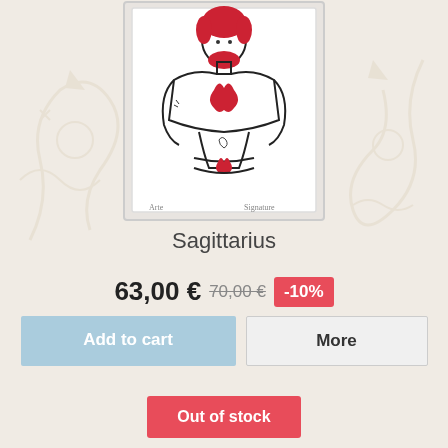[Figure (illustration): Framed art print of a muscular male figure with red hair and beard, line art style with red flame motifs on chest and lower torso, in a white picture frame]
Sagittarius
63,00 € 70,00 € -10%
Add to cart   More
Out of stock